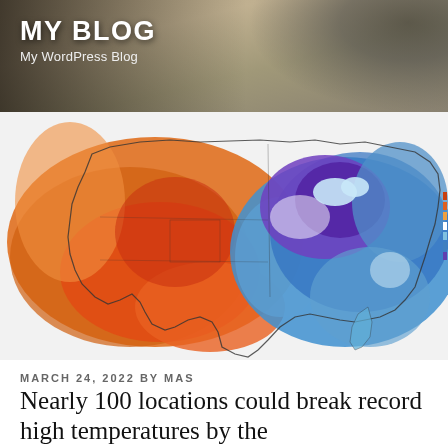MY BLOG
My WordPress Blog
[Figure (map): US temperature anomaly map showing warm (orange/red) conditions across the western half of the United States and cold (blue/purple) conditions across the eastern half, with deepest cold (purple) centered on the Great Lakes/Midwest region.]
MARCH 24, 2022 BY MAS
Nearly 100 locations could break record high temperatures by the